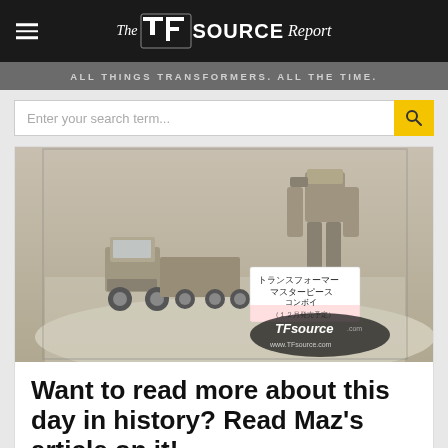The TFSource Report — ALL THINGS TRANSFORMERS. ALL THE TIME.
Enter your search term...
[Figure (photo): Photo of Transformers Masterpiece Convoy/Optimus Prime prototype models displayed in a glass case at a convention or toy show, with a Japanese label card reading トランスフォーマー マスターピース コンボイ. TFSource.com watermark visible. Models are unpainted gray prototypes.]
Want to read more about this day in history? Read Maz's article on it!